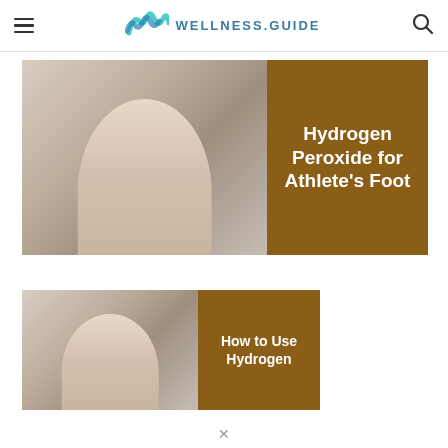WELLNESS.GUIDE
[Figure (photo): Close-up photo of bare human feet on a white surface with brown overlay panel showing text: Hydrogen Peroxide for Athlete's Foot]
Hydrogen Peroxide for Athlete's Foot
[Figure (photo): Partial image of bare legs/feet with brown overlay panel showing text: How to Use Hydrogen]
How to Use Hydrogen